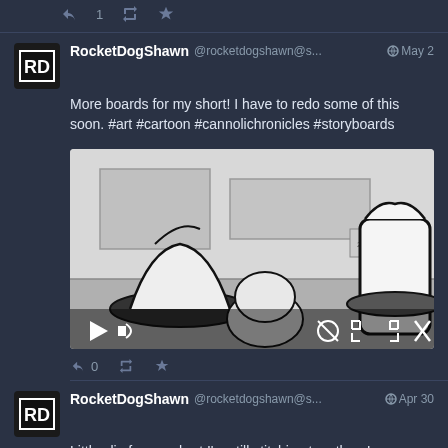[Figure (screenshot): Top action bar with reply (1), retweet, and star icons on dark background]
RocketDogShawn @rocketdogshawn@s... May 2
More boards for my short! I have to redo some of this soon. #art #cartoon #cannolichronicles #storyboards
[Figure (illustration): Storyboard animation still showing three cartoon characters with hats lying face down, black and white sketch style, video player controls visible at bottom]
0 retweets, star action icons
RocketDogShawn @rocketdogshawn@s... Apr 30
Little clip from a short I'm still stitching together. I